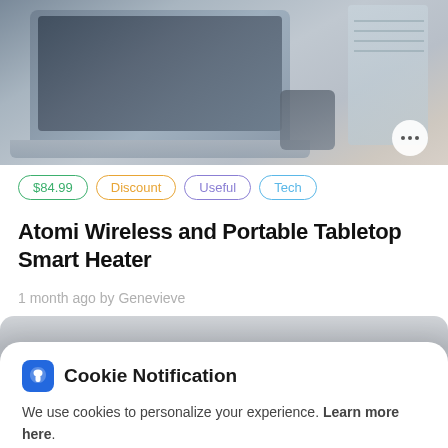[Figure (photo): Product listing page showing a laptop on a desk with notebook and phone in background. Tags showing $84.99, Discount, Useful, Tech. Product title: Atomi Wireless and Portable Tabletop Smart Heater. Posted 1 month ago by Genevieve. Cookie notification modal overlay at bottom with I Don't Accept and I Accept buttons.]
$84.99   Discount   Useful   Tech
Atomi Wireless and Portable Tabletop Smart Heater
1 month ago by Genevieve
Cookie Notification
We use cookies to personalize your experience. Learn more here.
I Don't Accept
I Accept